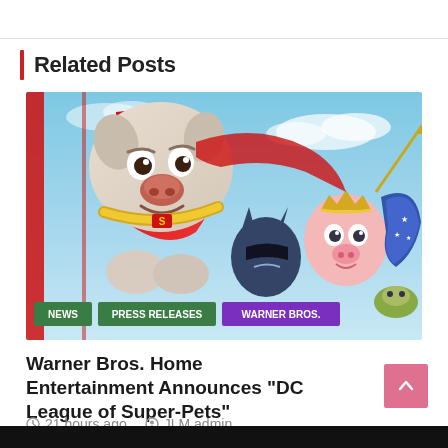Related Posts
[Figure (photo): DC League of Super-Pets animated movie promotional image showing Krypto the dog in a red cape, a bat-cat, a pig in Wonder Woman costume, and other animated animal superheroes. Tags: NEWS, PRESS RELEASES, WARNER BROS.]
Warner Bros. Home Entertainment Announces “DC League of Super-Pets”
21 hours ago   JLM admin